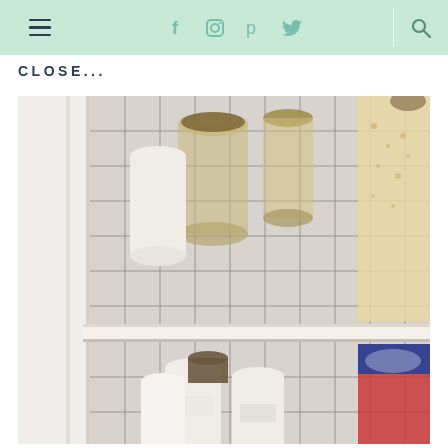Navigation header with hamburger menu, social icons (Facebook, Instagram, Pinterest, Twitter), and search icon on mint/light green background
CLOSE...
[Figure (photo): Close-up photo of an organized pantry with shelves containing glass jars, white ceramic canisters, and various food items against a grid/checkerboard tile backsplash. Two shelves are fully visible with jars of grains, cereals, and labeled white containers.]